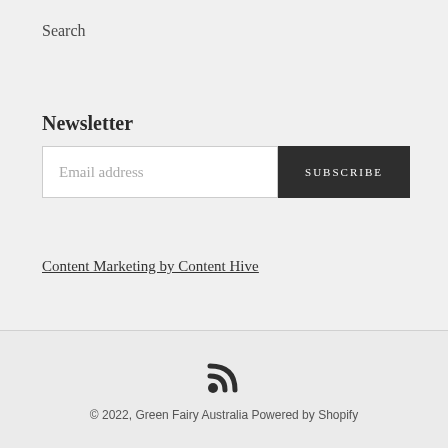Search
Newsletter
Email address    SUBSCRIBE
Content Marketing by Content Hive
[Figure (illustration): RSS feed icon]
© 2022, Green Fairy Australia Powered by Shopify